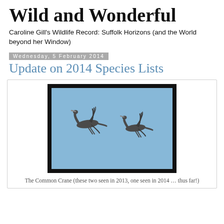Wild and Wonderful
Caroline Gill's Wildlife Record: Suffolk Horizons (and the World beyond her Window)
Wednesday, 5 February 2014
Update on 2014 Species Lists
[Figure (photo): Two Common Cranes in flight against a blue sky, photographed in 2013]
The Common Crane (these two seen in 2013, one seen in 2014 … thus far!)